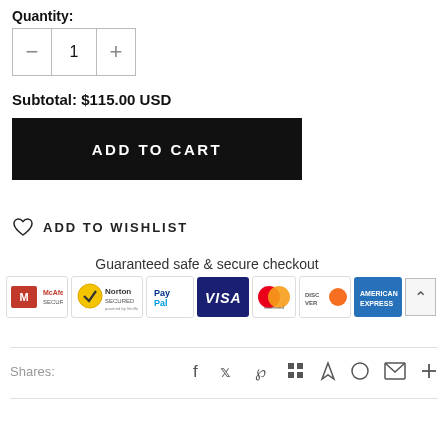Quantity:
Subtotal: $115.00 USD
ADD TO CART
ADD TO WISHLIST
Guaranteed safe & secure checkout
[Figure (logo): Security badges: McAfee Secure, Norton Secured, PayPal, Visa, Mastercard, Discover, American Express]
Shares:
Social share icons: Facebook, Twitter, Pinterest, Grid, Bookmark, Circle, Email, Plus